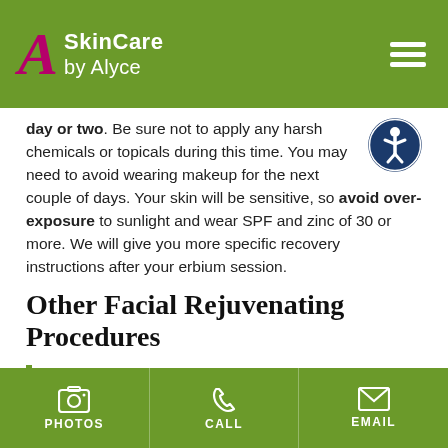Skin Care by Alyce
day or two. Be sure not to apply any harsh chemicals or topicals during this time. You may need to avoid wearing makeup for the next couple of days. Your skin will be sensitive, so avoid over-exposure to sunlight and wear SPF and zinc of 30 or more. We will give you more specific recovery instructions after your erbium session.
[Figure (illustration): Accessibility icon - person in circle with dark blue border]
Other Facial Rejuvenating Procedures
During your consultation, we may
PHOTOS   CALL   EMAIL